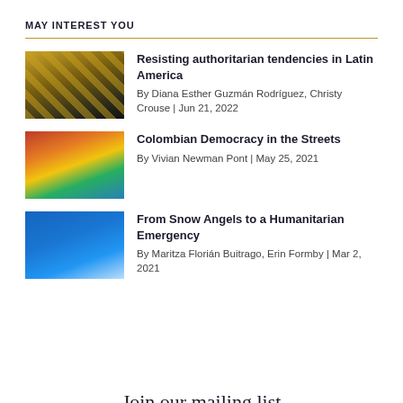MAY INTEREST YOU
[Figure (photo): Thumbnail image with yellow and dark geometric/flag pattern]
Resisting authoritarian tendencies in Latin America
By Diana Esther Guzmán Rodríguez, Christy Crouse | Jun 21, 2022
[Figure (photo): Thumbnail image of crowds with colorful clothing, protest scene]
Colombian Democracy in the Streets
By Vivian Newman Pont | May 25, 2021
[Figure (photo): Thumbnail image with blue background, person in dark clothing]
From Snow Angels to a Humanitarian Emergency
By Maritza Florián Buitrago, Erin Formby | Mar 2, 2021
Join our mailing list